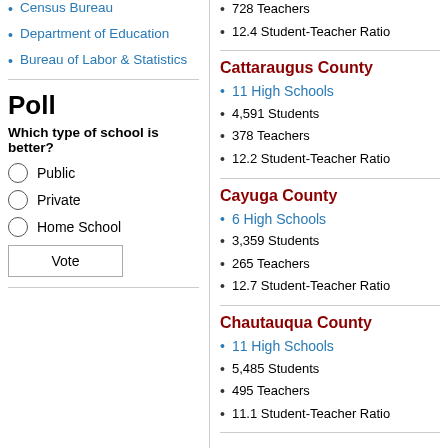Census Bureau
Department of Education
Bureau of Labor & Statistics
Poll
Which type of school is better?
Public
Private
Home School
Vote
728 Teachers
12.4 Student-Teacher Ratio
Cattaraugus County
11 High Schools
4,591 Students
378 Teachers
12.2 Student-Teacher Ratio
Cayuga County
6 High Schools
3,359 Students
265 Teachers
12.7 Student-Teacher Ratio
Chautauqua County
11 High Schools
5,485 Students
495 Teachers
11.1 Student-Teacher Ratio